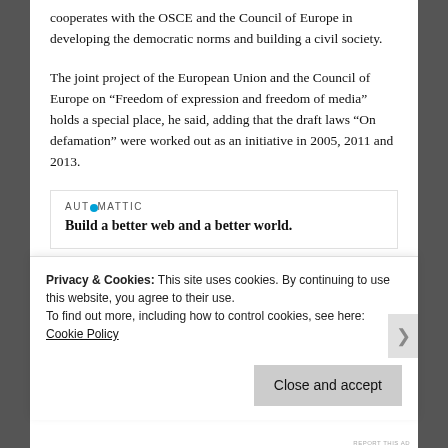cooperates with the OSCE and the Council of Europe in developing the democratic norms and building a civil society.
The joint project of the European Union and the Council of Europe on “Freedom of expression and freedom of media” holds a special place, he said, adding that the draft laws “On defamation” were worked out as an initiative in 2005, 2011 and 2013.
[Figure (other): Automattic advertisement: AUTOMATTIC logo with tagline 'Build a better web and a better world.']
Hasanov said that a one-time financial aid was
Privacy & Cookies: This site uses cookies. By continuing to use this website, you agree to their use.
To find out more, including how to control cookies, see here: Cookie Policy
Close and accept